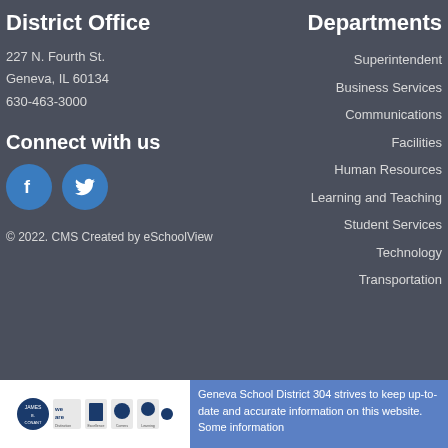District Office
227 N. Fourth St.
Geneva, IL 60134
630-463-3000
Connect with us
[Figure (illustration): Facebook and Twitter social media circular icons in blue]
© 2022. CMS Created by eSchoolView
Departments
Superintendent
Business Services
Communications
Facilities
Human Resources
Learning and Teaching
Student Services
Technology
Transportation
[Figure (logo): Row of accreditation logos/badges on white background]
Geneva School District 304 strives to keep up-to-date and accurate information on this website. Some information